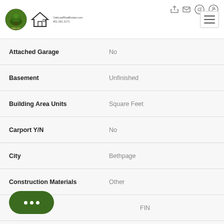[Figure (logo): One List Realtors logo (green circle with oak leaf) and Equal Housing Opportunity logo]
| Field | Value |
| --- | --- |
| Attached Garage | No |
| Basement | Unfinished |
| Building Area Units | Square Feet |
| Carport Y/N | No |
| City | Bethpage |
| Construction Materials | Other |
| ...ncy | FIN |
| Cooling | Central Air, Electric |